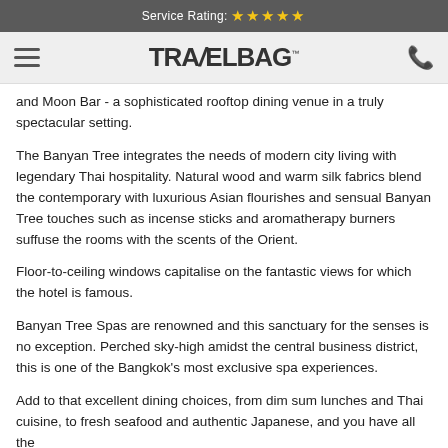Service Rating: ★★★★★
TRAVELBAG™
and Moon Bar - a sophisticated rooftop dining venue in a truly spectacular setting.
The Banyan Tree integrates the needs of modern city living with legendary Thai hospitality. Natural wood and warm silk fabrics blend the contemporary with luxurious Asian flourishes and sensual Banyan Tree touches such as incense sticks and aromatherapy burners suffuse the rooms with the scents of the Orient.
Floor-to-ceiling windows capitalise on the fantastic views for which the hotel is famous.
Banyan Tree Spas are renowned and this sanctuary for the senses is no exception. Perched sky-high amidst the central business district, this is one of the Bangkok's most exclusive spa experiences.
Add to that excellent dining choices, from dim sum lunches and Thai cuisine, to fresh seafood and authentic Japanese, and you have all the